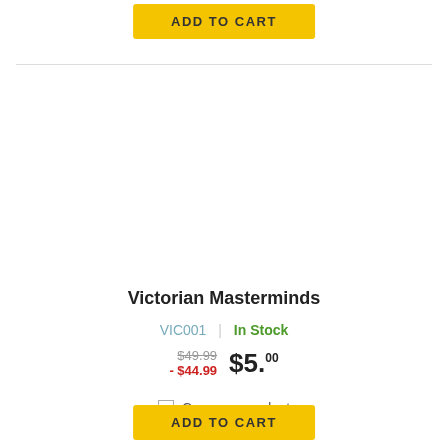ADD TO CART
Victorian Masterminds
VIC001 | In Stock
$49.99 - $44.99 $5.00
Compare product
ADD TO CART